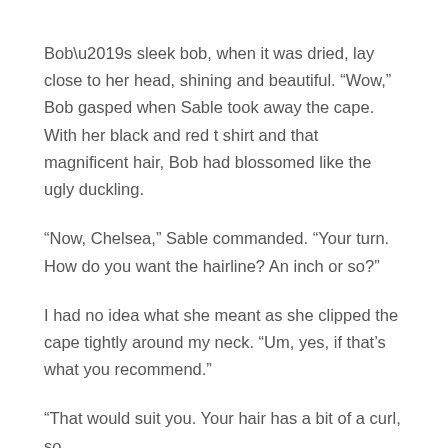Bob’s sleek bob, when it was dried, lay close to her head, shining and beautiful. “Wow,” Bob gasped when Sable took away the cape. With her black and red t shirt and that magnificent hair, Bob had blossomed like the ugly duckling.
“Now, Chelsea,” Sable commanded. “Your turn. How do you want the hairline? An inch or so?”
I had no idea what she meant as she clipped the cape tightly around my neck. “Um, yes, if that’s what you recommend.”
“That would suit you. Your hair has a bit of a curl, so